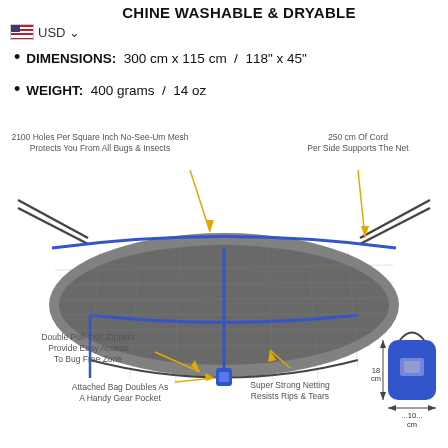CHINE WASHABLE & DRYABLE
USD
DIMENSIONS: 300 cm x 115 cm / 118" x 45"
WEIGHT: 400 grams / 14 oz
[Figure (photo): Hammock bug net infographic showing a dark mesh hammock net with blue zippers and rope supports. Annotations point to: 2100 Holes Per Square Inch No-See-Um Mesh Protects You From All Bugs & Insects; 250 cm Of Cord Per Side Supports The Net; Double Pull YKK Zippers Provide Easy Access To Bug Free Zone; Attached Bag Doubles As A Handy Gear Pocket; Super Strong Netting Resists Rips & Tears. A small inset shows dimensions 18cm x 10cm of the attached bag.]